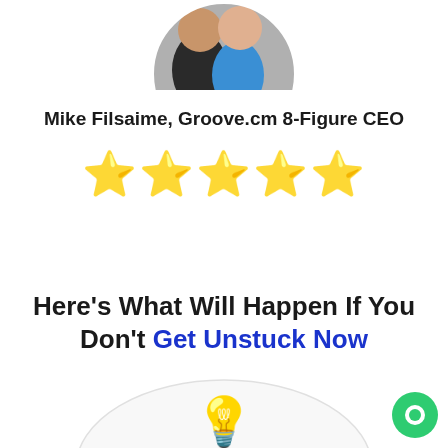[Figure (photo): Circular profile photo of two men smiling, one in dark jacket and one in blue shirt, cropped in a circle]
Mike Filsaime, Groove.cm 8-Figure CEO
⭐⭐⭐⭐⭐
Here's What Will Happen If You Don't Get Unstuck Now
[Figure (illustration): Partial circle with a lightbulb emoji in the center, bottom of page]